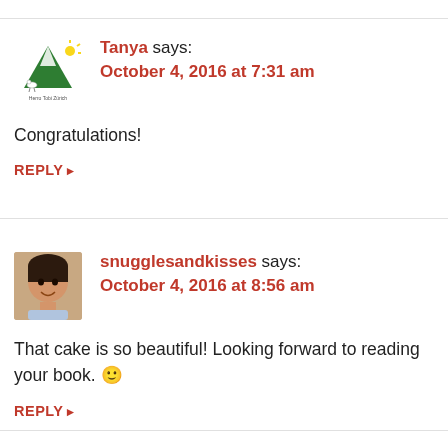[Figure (illustration): Avatar logo for Tanya - green mountain with decorative elements, text 'Herro Tobi Zürich' below]
Tanya says:
October 4, 2016 at 7:31 am
Congratulations!
REPLY ▸
[Figure (photo): Avatar photo of snugglesandkisses - person with dark hair]
snugglesandkisses says:
October 4, 2016 at 8:56 am
That cake is so beautiful! Looking forward to reading your book. 🙂
REPLY ▸